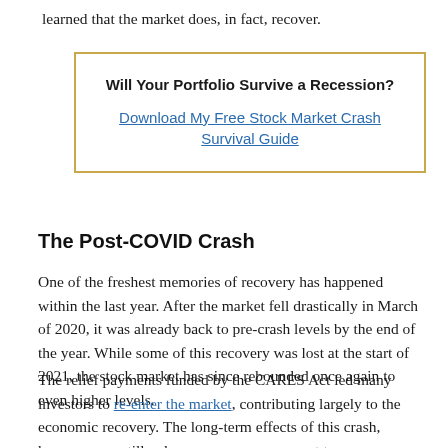learned that the market does, in fact, recover.
Will Your Portfolio Survive a Recession?

Download My Free Stock Market Crash Survival Guide
The Post-COVID Crash
One of the freshest memories of recovery has happened within the last year. After the market fell drastically in March of 2020, it was already back to pre-crash levels by the end of the year. While some of this recovery was lost at the start of 2021, the stock market has since rebounded once again to even higher levels.
The relief payments funded by the CARES Act led many investors to re-enter the market, contributing largely to the economic recovery. The long-term effects of this crash, however, are still unknown, so we can expect to see more market volatility in the coming months, and perhaps, another crash.